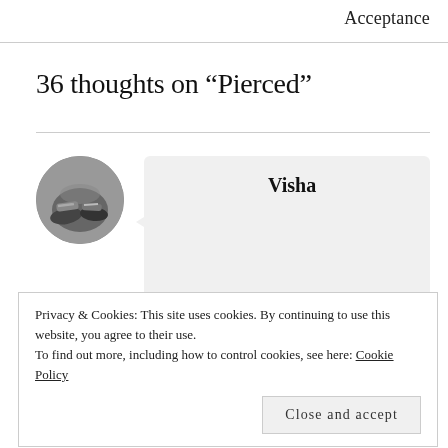Acceptance
36 thoughts on “Pierced”
[Figure (photo): Circular avatar photo showing feet in sandals on a rocky surface]
Visha
Poor lady who got kicked
Privacy & Cookies: This site uses cookies. By continuing to use this website, you agree to their use.
To find out more, including how to control cookies, see here: Cookie Policy
Close and accept
fun and enjoy life with